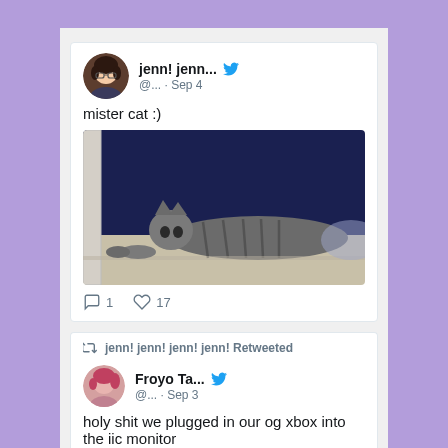[Figure (screenshot): Twitter/social media feed screenshot showing two tweets on a purple background. First tweet by 'jenn! jenn...' @... Sep 4 saying 'mister cat :)' with a photo of a tabby cat lying on a windowsill against a dark blue background, with 1 comment and 17 likes. Below is a retweet by 'jenn! jenn! jenn! jenn! Retweeted' of a tweet by 'Froyo Ta...' @... Sep 3 starting with 'holy shit we plugged in our og xbox into the iic monitor']